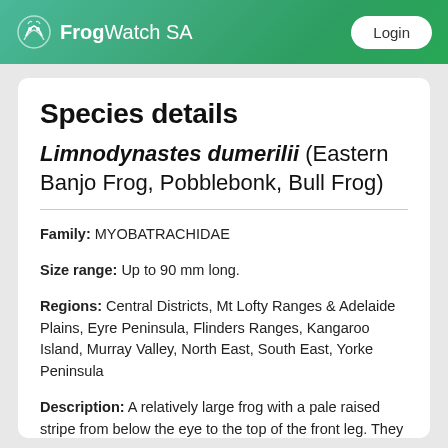FrogWatch SA  Login
Species details
Limnodynastes dumerilii (Eastern Banjo Frog, Pobblebonk, Bull Frog)
Family: MYOBATRACHIDAE
Size range: Up to 90 mm long.
Regions: Central Districts, Mt Lofty Ranges & Adelaide Plains, Eyre Peninsula, Flinders Ranges, Kangaroo Island, Murray Valley, North East, South East, Yorke Peninsula
Description: A relatively large frog with a pale raised stripe from below the eye to the top of the front leg. They have a prominent lump on the hind leg (the tibial gland) and a white or mottled belly. There are two subspecies of